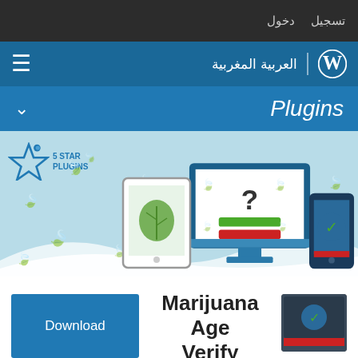تسجيل  دخول
العربية المغربية
Plugins
[Figure (screenshot): 5 Star Plugins banner showing marijuana age verify plugin with devices (tablet, desktop, phone) on a light blue background with cannabis leaf decorations]
Download
Marijuana Age Verify
By 5 Star Plugins